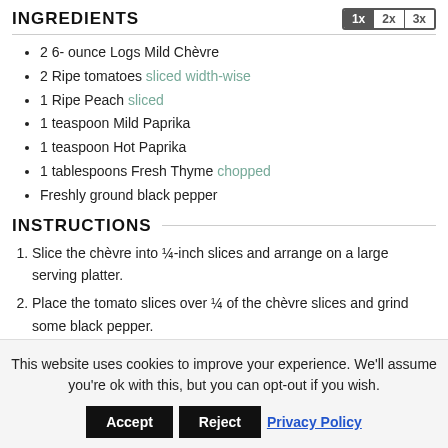INGREDIENTS
2 6- ounce Logs Mild Chèvre
2 Ripe tomatoes sliced width-wise
1 Ripe Peach sliced
1 teaspoon Mild Paprika
1 teaspoon Hot Paprika
1 tablespoons Fresh Thyme chopped
Freshly ground black pepper
INSTRUCTIONS
Slice the chèvre into ¼-inch slices and arrange on a large serving platter.
Place the tomato slices over ¼ of the chèvre slices and grind some black pepper.
Place the peach slices over ¼ of the chèvre slices and
This website uses cookies to improve your experience. We'll assume you're ok with this, but you can opt-out if you wish.